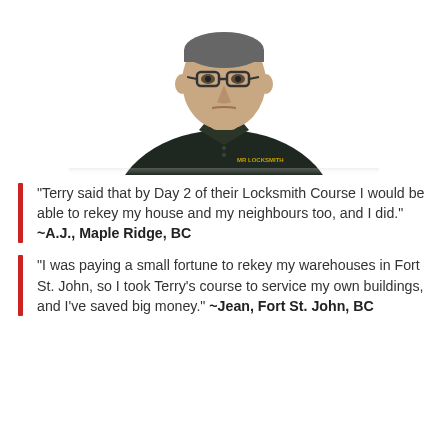[Figure (photo): Headshot of a middle-aged man wearing glasses and a dark polo shirt with a small logo on the chest, against a white background.]
"Terry said that by Day 2 of their Locksmith Course I would be able to rekey my house and my neighbours too, and I did." ~A.J., Maple Ridge, BC
"I was paying a small fortune to rekey my warehouses in Fort St. John, so I took Terry's course to service my own buildings, and I've saved big money." ~Jean, Fort St. John, BC